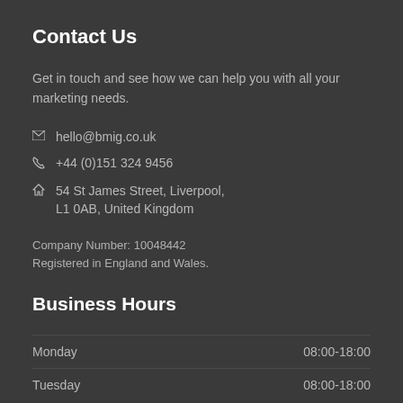Contact Us
Get in touch and see how we can help you with all your marketing needs.
hello@bmig.co.uk
+44 (0)151 324 9456
54 St James Street, Liverpool, L1 0AB, United Kingdom
Company Number: 10048442
Registered in England and Wales.
Business Hours
| Day | Hours |
| --- | --- |
| Monday | 08:00-18:00 |
| Tuesday | 08:00-18:00 |